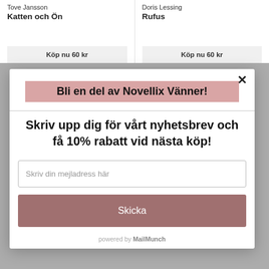Tove Jansson
Katten och Ön
Köp nu 60 kr
Doris Lessing
Rufus
Köp nu 60 kr
Bli en del av Novellix Vänner!
Skriv upp dig för vårt nyhetsbrev och få 10% rabatt vid nästa köp!
Skriv din mejladress här
Skicka
powered by MailMunch